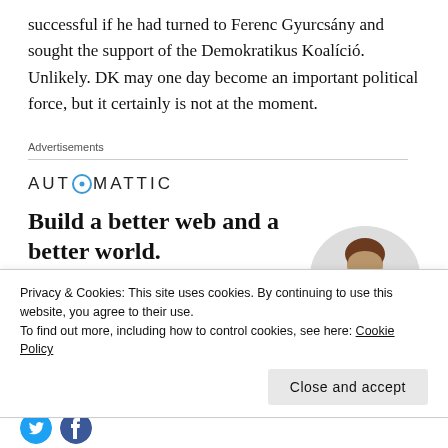successful if he had turned to Ferenc Gyurcsány and sought the support of the Demokratikus Koalíció. Unlikely. DK may one day become an important political force, but it certainly is not at the moment.
Advertisements
[Figure (logo): Automattic logo with circular compass icon]
[Figure (illustration): Automattic advertisement: 'Build a better web and a better world.' with Apply button and person image]
Privacy & Cookies: This site uses cookies. By continuing to use this website, you agree to their use.
To find out more, including how to control cookies, see here: Cookie Policy
Close and accept